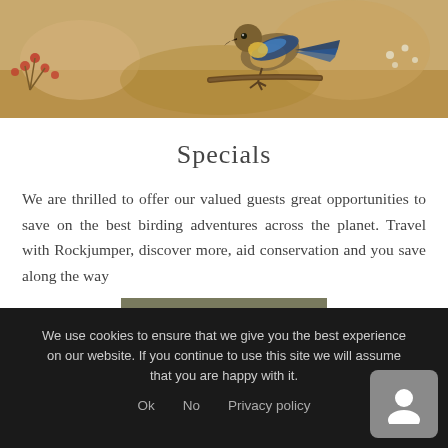[Figure (photo): Close-up photo of a bird (appears to be a sunbird or similar small bird with blue/yellow plumage) perched among small flowers and berries against a warm tan/brown background]
Specials
We are thrilled to offer our valued guests great opportunities to save on the best birding adventures across the planet. Travel with Rockjumper, discover more, aid conservation and you save along the way
VIEW SPECIALS
We use cookies to ensure that we give you the best experience on our website. If you continue to use this site we will assume that you are happy with it.
Ok   No   Privacy policy